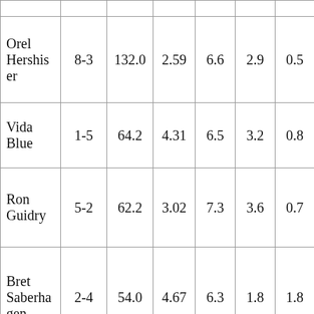| Orel Hershiser | 8-3 | 132.0 | 2.59 | 6.6 | 2.9 | 0.5 |
| Vida Blue | 1-5 | 64.2 | 4.31 | 6.5 | 3.2 | 0.8 |
| Ron Guidry | 5-2 | 62.2 | 3.02 | 7.3 | 3.6 | 0.7 |
| Bret Saberhagen | 2-4 | 54.0 | 4.67 | 6.3 | 1.8 | 1.8 |